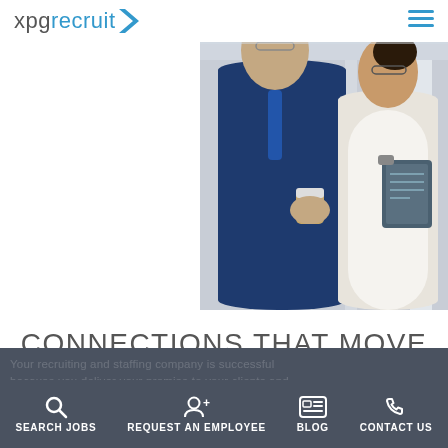[Figure (logo): xpgrecruit logo with blue chevron arrow]
[Figure (photo): Two business professionals, a man in a blue suit holding a coffee cup and a woman with glasses holding a clipboard, in conversation in a modern office setting]
CONNECTIONS THAT MOVE YOUR STAFFING BUSINESS FORWARD
Your recruiting and staffing company is successful because you deliver your promise to your clients and candidates. Your drive, dedication and integrity are your differences and these are your key marketing tools.
SEARCH JOBS  REQUEST AN EMPLOYEE  BLOG  CONTACT US